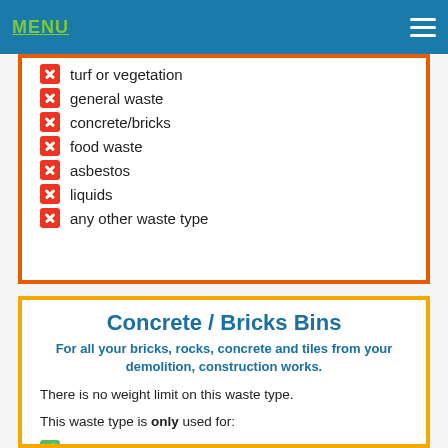MENU
turf or vegetation
general waste
concrete/bricks
food waste
asbestos
liquids
any other waste type
Concrete / Bricks Bins
For all your bricks, rocks, concrete and tiles from your demolition, construction works.
There is no weight limit on this waste type.
This waste type is only used for:
bricks
concrete
tiles